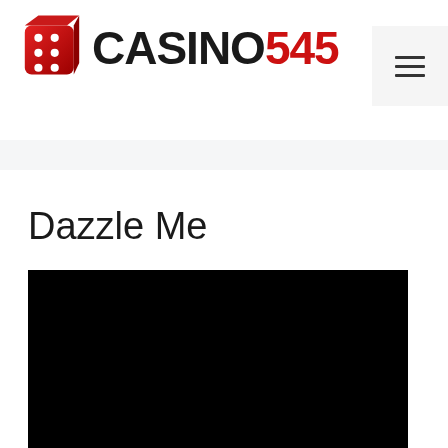CASINO545
Dazzle Me
[Figure (photo): Black rectangular image area, content not visible]